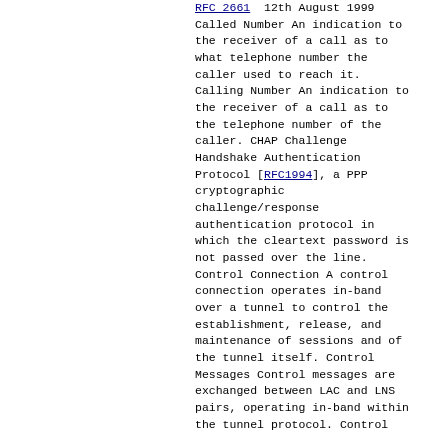RFC 2661  12th August 1999
Called Number An indication to the receiver of a call as to what telephone number the caller used to reach it. Calling Number An indication to the receiver of a call as to the telephone number of the caller. CHAP Challenge Handshake Authentication Protocol [RFC1994], a PPP cryptographic challenge/response authentication protocol in which the cleartext password is not passed over the line. Control Connection A control connection operates in-band over a tunnel to control the establishment, release, and maintenance of sessions and of the tunnel itself. Control Messages Control messages are exchanged between LAC and LNS pairs, operating in-band within the tunnel protocol. Control